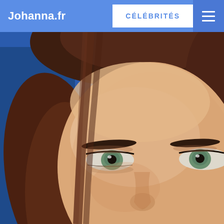Johanna.fr
CÉLÉBRITÉS
[Figure (photo): Close-up portrait photo of a woman with auburn/dark red hair and blue-green eyes against a blue background. The photo is cropped to show roughly the top half of the face from forehead to just below the nose. The woman has well-defined eyebrows, long lashes, and piercing grey-green eyes.]